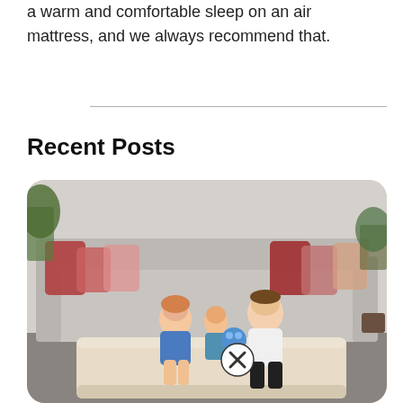a warm and comfortable sleep on an air mattress, and we always recommend that.
Recent Posts
[Figure (photo): A family (mother, father, and young child) sitting together on an inflated air mattress on the floor in a living room with a grey sofa and colorful pillows in the background. The child holds a blue stuffed animal. There is a close button (X) overlay visible on the image.]